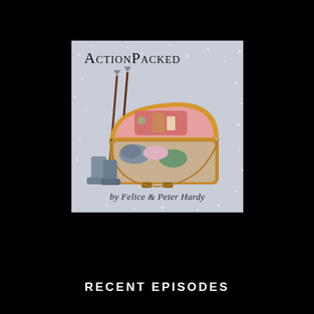[Figure (illustration): Album/podcast cover art for 'ActionPacked' by Felice and Peter Hardy. Light gray/blue sparkly background with an illustration of an open suitcase packed with items (gloves, hat, rocks, small box) plus ski poles and boots beside it. Title 'ActionPacked' in serif small-caps at top, author credit 'by Felice & Peter Hardy' in italic at bottom.]
RECENT EPISODES